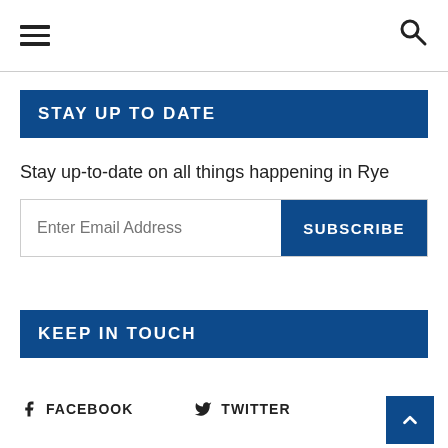Navigation header with hamburger menu and search icon
STAY UP TO DATE
Stay up-to-date on all things happening in Rye
Enter Email Address | SUBSCRIBE
KEEP IN TOUCH
FACEBOOK   TWITTER